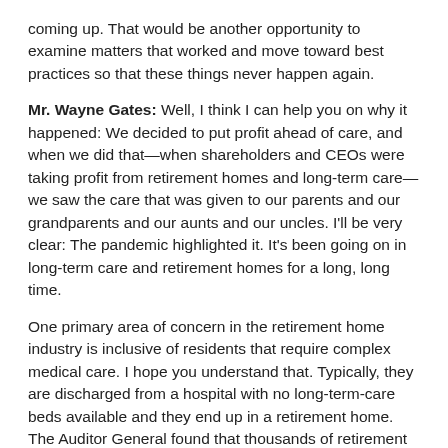coming up. That would be another opportunity to examine matters that worked and move toward best practices so that these things never happen again.
Mr. Wayne Gates: Well, I think I can help you on why it happened: We decided to put profit ahead of care, and when we did that—when shareholders and CEOs were taking profit from retirement homes and long-term care—we saw the care that was given to our parents and our grandparents and our aunts and our uncles. I'll be very clear: The pandemic highlighted it. It's been going on in long-term care and retirement homes for a long, long time.
One primary area of concern in the retirement home industry is inclusive of residents that require complex medical care. I hope you understand that. Typically, they are discharged from a hospital with no long-term-care beds available and they end up in a retirement home. The Auditor General found that thousands of retirement home beds are being used for alternate-level-of-care residents,